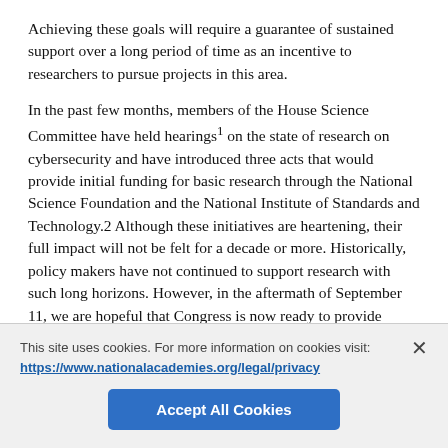Achieving these goals will require a guarantee of sustained support over a long period of time as an incentive to researchers to pursue projects in this area.
In the past few months, members of the House Science Committee have held hearings¹ on the state of research on cybersecurity and have introduced three acts that would provide initial funding for basic research through the National Science Foundation and the National Institute of Standards and Technology.2 Although these initiatives are heartening, their full impact will not be felt for a decade or more. Historically, policy makers have not continued to support research with such long horizons. However, in the aftermath of September 11, we are hopeful that Congress is now ready to provide stable, long-term funding for this high-risk research.
This site uses cookies. For more information on cookies visit: https://www.nationalacademies.org/legal/privacy
Accept All Cookies